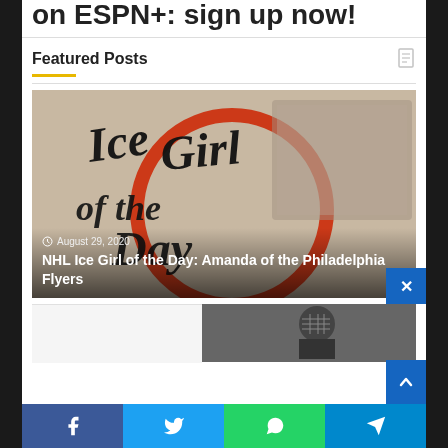on ESPN+: sign up now!
Featured Posts
[Figure (photo): Ice Girl of the Day graphic with script text overlay on hockey background]
August 29, 2020
NHL Ice Girl of the Day: Amanda of the Philadelphia Flyers
[Figure (photo): Hockey player with helmet and mask, bottom right thumbnail]
Facebook Twitter WhatsApp Telegram social share buttons